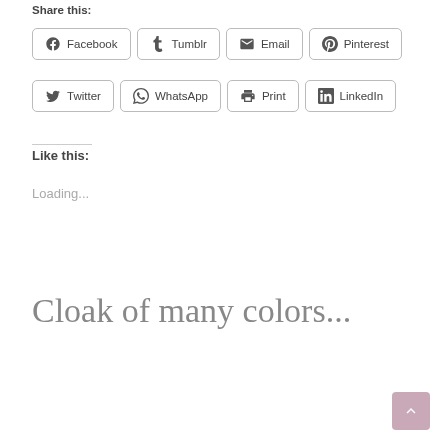Share this:
Facebook
Tumblr
Email
Pinterest
Twitter
WhatsApp
Print
LinkedIn
Like this:
Loading...
Cloak of many colors...